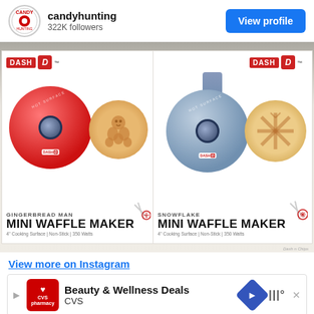candyhunting 322K followers
[Figure (photo): Two Dash Mini Waffle Maker boxes: Gingerbread Man (red) on the left and Snowflake (blue) on the right, displayed on a retail shelf. Each box shows the waffle maker appliance and a sample waffle.]
View more on Instagram
Beauty & Wellness Deals CVS